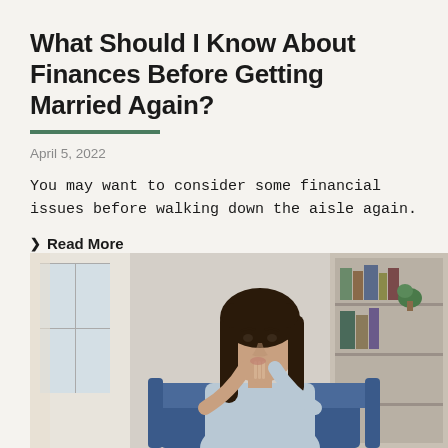What Should I Know About Finances Before Getting Married Again?
April 5, 2022
You may want to consider some financial issues before walking down the aisle again.
❯ Read More
[Figure (photo): A young woman with long dark hair sitting on a blue couch in a living room, holding her fingers to her lips in a thoughtful pose, with a window and bookshelf in the background.]